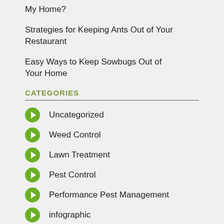My Home?
Strategies for Keeping Ants Out of Your Restaurant
Easy Ways to Keep Sowbugs Out of Your Home
CATEGORIES
Uncategorized
Weed Control
Lawn Treatment
Pest Control
Performance Pest Management
infographic
Spider treatment